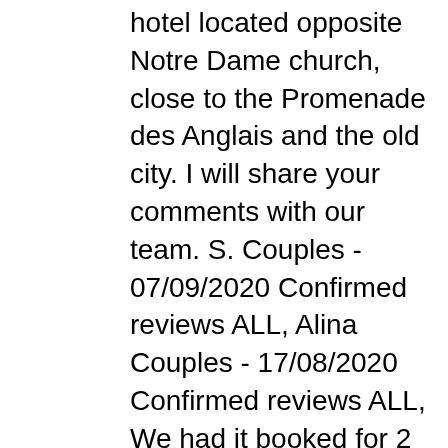hotel located opposite Notre Dame church, close to the Promenade des Anglais and the old city. I will share your comments with our team. S. Couples - 07/09/2020 Confirmed reviews ALL, Alina Couples - 17/08/2020 Confirmed reviews ALL, We had it booked for 2 nights , however no one cleaned or throw the rubish at least for the entire stay, Christian E. Couples - 31/07/2020 Confirmed reviews ALL. On the tram line, the hotel is 300 m from … Initially, they said they would not cancel the reservation nor reimburse me. We have stayed many times before and as usual the mercure did not disappoint. Does Mercure Nice Marché aux Fleurs have any great views? Good sound insulation and fairly spacious with all normal facilities. LATE CHECK-OUT UP TO 5PM (Paying) Want to keep your room until 5pm on the day of departure? A modular room with a sea view, for all your events. Thank you again for sharing your experience, and we hope your next visit will be as pleasant as the previous one. At Mercure, we strive to provide a superior service experience for every customer; therefore your feedback is very important to us. All staff friendly and courteous. Breakfast very